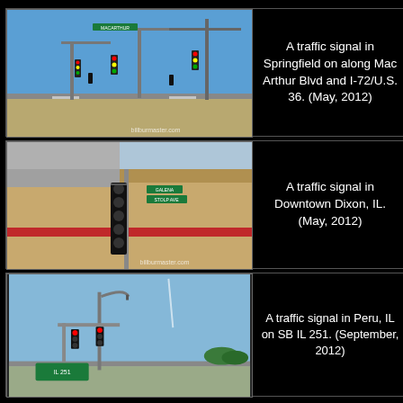[Figure (photo): Traffic signal at intersection in Springfield on along Mac Arthur Blvd and I-72/U.S. 36. Blue sky, multiple signal heads on mast arms, watermark billburmaster.com. (May, 2012)]
A traffic signal in Springfield on along Mac Arthur Blvd and I-72/U.S. 36. (May, 2012)
[Figure (photo): Traffic signal in Downtown Dixon, IL. Close-up of a vertical signal head on a pole next to an orange/tan building with red stripe, green street signs visible. Watermark billburmaster.com. (May, 2012)]
A traffic signal in Downtown Dixon, IL. (May, 2012)
[Figure (photo): Traffic signal in Peru, IL on SB IL 251. Red signal heads visible on a mast arm with a street light, blue sky background.]
A traffic signal in Peru, IL on SB IL 251. (September, 2012)